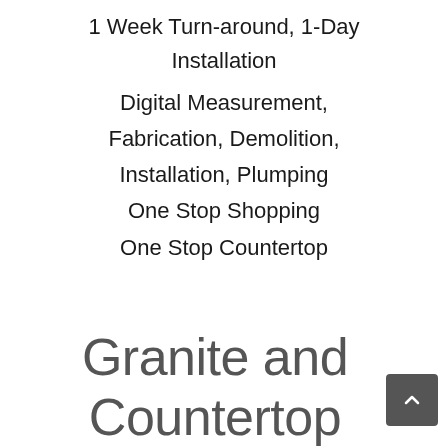1 Week Turn-around, 1-Day Installation
Digital Measurement,
Fabrication, Demolition,
Installation, Plumping
One Stop Shopping
One Stop Countertop
Granite and Countertop